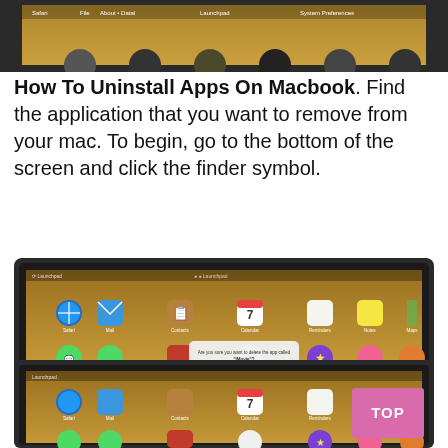[Figure (screenshot): Top portion of a macOS Launchpad screenshot showing app icons on a sandy brown background, partially cropped]
How To Uninstall Apps On Macbook. Find the application that you want to remove from your mac. To begin, go to the bottom of the screen and click the finder symbol.
[Figure (screenshot): MacBook laptop showing macOS Launchpad with various app icons including Safari, Mail, Contacts, Calendar, Reminders, Notes, Maps, Messages, FaceTime, Home Bookmarks, Photos, iMovie, Music, Books, App Store, Pages, Numbers, Keynote, Finder, DiskDiag, GoodLinks, and others. A dialog box is visible asking to delete iMovie app with Cancel and Delete buttons.]
[Figure (screenshot): Partial MacBook laptop showing the bottom portion of macOS Launchpad with app icons. A pink/magenta 'TOP' button overlay is visible in the lower right corner.]